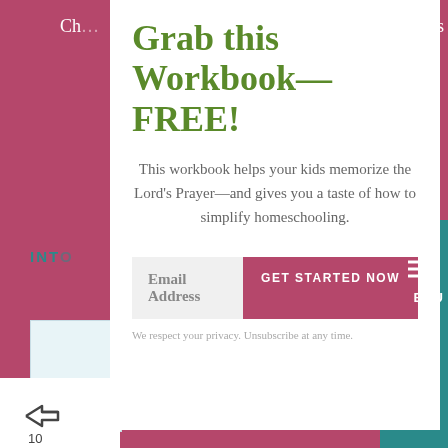Grab this Workbook—FREE!
This workbook helps your kids memorize the Lord's Prayer—and gives you a taste of how to simplify homeschooling.
Email Address
GET STARTED NOW
We respect your privacy. Unsubscribe at any time.
10